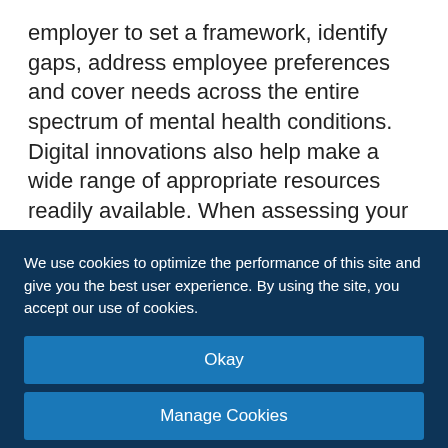employer to set a framework, identify gaps, address employee preferences and cover needs across the entire spectrum of mental health conditions. Digital innovations also help make a wide range of appropriate resources readily available. When assessing your mental health strategy, use these four categories to ensure that you are offering a wide variety of mental health benefits:
Prevention – digital solutions that build skills
We use cookies to optimize the performance of this site and give you the best user experience. By using the site, you accept our use of cookies.
Okay
Manage Cookies